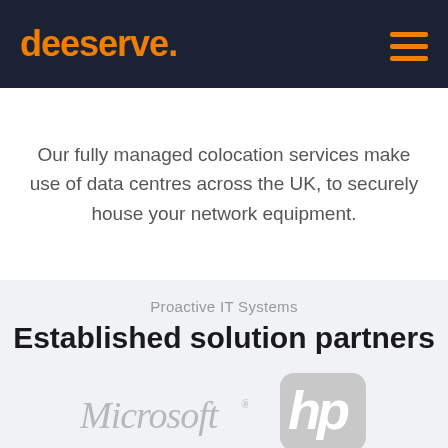deeserve.
Our fully managed colocation services make use of data centres across the UK, to securely house your network equipment.
Proactive IT Systems
Established solution partners
[Figure (logo): Microsoft logo in grey italic serif font]
[Figure (logo): HP logo in grey rounded rectangle badge]